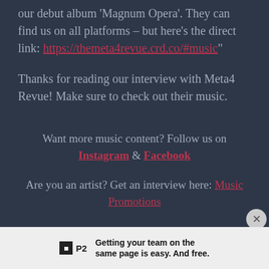our debut album 'Magnum Opera'. They can find us on all platforms – but here's the direct link: https://themeta4revue.crd.co/#music"
Thanks for reading our interview with Meta4 Revue! Make sure to check out their music.
Want more music content? Follow us on Instagram & Facebook
Are you an artist? Get an interview here: Music Promotions
Getting your team on the same page is easy. And free.